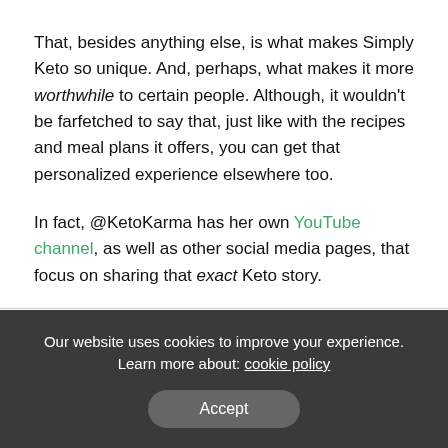That, besides anything else, is what makes Simply Keto so unique. And, perhaps, what makes it more worthwhile to certain people. Although, it wouldn't be farfetched to say that, just like with the recipes and meal plans it offers, you can get that personalized experience elsewhere too.
In fact, @KetoKarma has her own YouTube channel, as well as other social media pages, that focus on sharing that exact Keto story.
In What Way Does Simply Keto Not Work?
Our website uses cookies to improve your experience. Learn more about: cookie policy